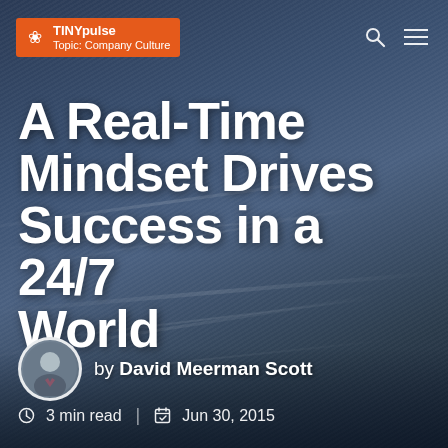TINYpulse Topic: Company Culture
A Real-Time Mindset Drives Success in a 24/7 World
by David Meerman Scott
3 min read   |   Jun 30, 2015